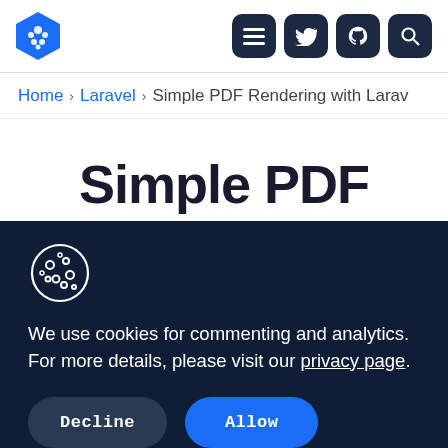[Figure (logo): Blue hexagon logo with snowflake/pinecone icon and navigation icons (menu, twitter, github, search) on dark navy rounded squares]
Home › Laravel › Simple PDF Rendering with Larav
Simple PDF
[Figure (illustration): Cookie icon - circle with smaller circles inside representing a cookie]
We use cookies for commenting and analytics. For more details, please visit our privacy page.
Decline   Allow